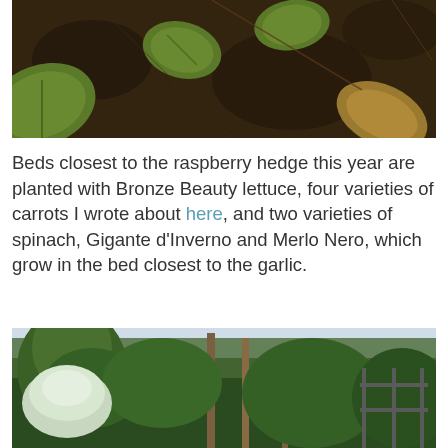[Figure (photo): Close-up photo of dark soil with green plant leaves, possibly squash or similar garden plants, viewed from above.]
Beds closest to the raspberry hedge this year are planted with Bronze Beauty lettuce, four varieties of carrots I wrote about here, and two varieties of spinach, Gigante d’Inverno and Merlo Nero, which grow in the bed closest to the garlic.
[Figure (photo): Photo of a garden area with tall trees, lush green foliage, and what appears to be a metal fence or gate structure in the background.]